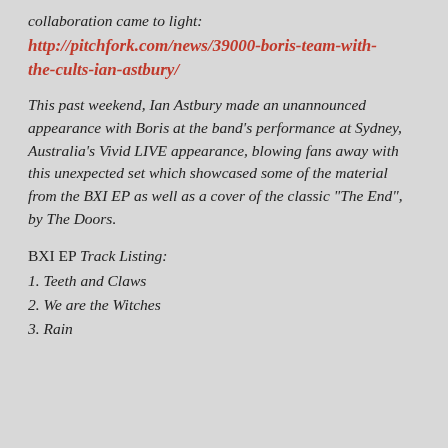collaboration came to light:
http://pitchfork.com/news/39000-boris-team-with-the-cults-ian-astbury/
This past weekend, Ian Astbury made an unannounced appearance with Boris at the band's performance at Sydney, Australia's Vivid LIVE appearance, blowing fans away with this unexpected set which showcased some of the material from the BXI EP as well as a cover of the classic "The End", by The Doors.
BXI EP Track Listing:
1. Teeth and Claws
2. We are the Witches
3. Rain